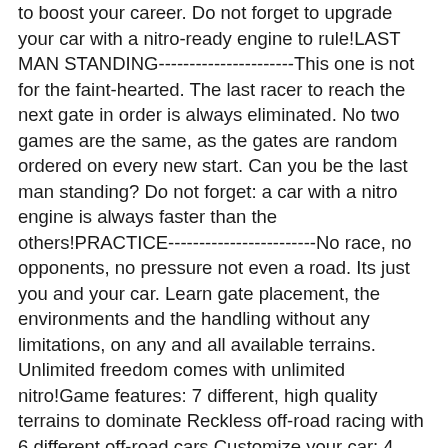to boost your career. Do not forget to upgrade your car with a nitro-ready engine to rule!LAST MAN STANDING----------------------This one is not for the faint-hearted. The last racer to reach the next gate in order is always eliminated. No two games are the same, as the gates are random ordered on every new start. Can you be the last man standing? Do not forget: a car with a nitro engine is always faster than the others!PRACTICE------------------------No race, no opponents, no pressure not even a road. Its just you and your car. Learn gate placement, the environments and the handling without any limitations, on any and all available terrains. Unlimited freedom comes with unlimited nitro!Game features: 7 different, high quality terrains to dominate Reckless off-road racing with 6 different off-road cars Customize your car: 4 different paints with every car to choose from! Advanced particle effects Special graphics options, like HQ terrains and real-time shadows High quality sound effects and a legendary soundtrack! Buy new cars, car paints, terrains or replenish your nitro stock with